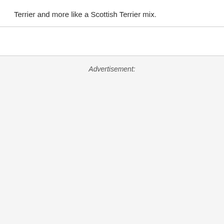Terrier and more like a Scottish Terrier mix.
Advertisement: